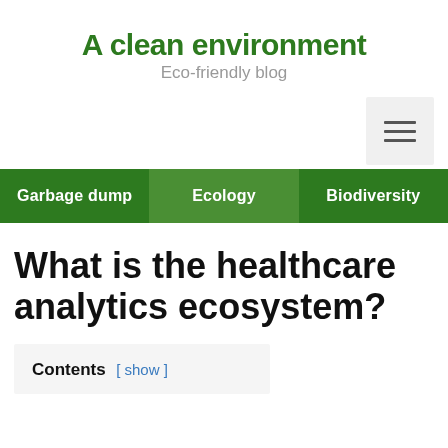A clean environment
Eco-friendly blog
Garbage dump | Ecology | Biodiversity
What is the healthcare analytics ecosystem?
Contents [ show ]